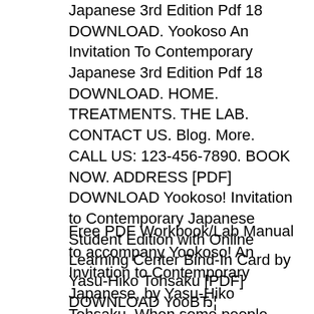Japanese 3rd Edition Pdf 18 DOWNLOAD. Yookoso An Invitation To Contemporary Japanese 3rd Edition Pdf 18 DOWNLOAD. HOME. TREATMENTS. THE LAB. CONTACT US. Blog. More. CALL US: 123-456-7890. BOOK NOW. ADDRESS [PDF] DOWNLOAD Yookoso! Invitation to Contemporary Japanese Student Edition with Online Learning Center Bind-In Card by Yasu-Hiko Tohsaku [PDF] DOWNLOAD YooBЂ¦
Free PDF Workbook/Lab Manual to accompany Yookoso! An Invitation to Contemporary Japanese, by Yasu-Hiko Tohsaku. When some people checking out you while checking out Workbook/Lab Manual To Accompany